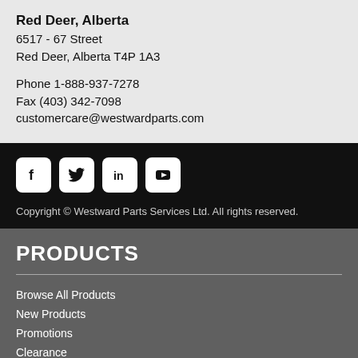Red Deer, Alberta
6517 - 67 Street
Red Deer, Alberta T4P 1A3

Phone 1-888-937-7278
Fax (403) 342-7098
customercare@westwardparts.com
[Figure (infographic): Social media icons: Facebook, Twitter, LinkedIn, YouTube]
Copyright © Westward Parts Services Ltd. All rights reserved.
PRODUCTS
Browse All Products
New Products
Promotions
Clearance